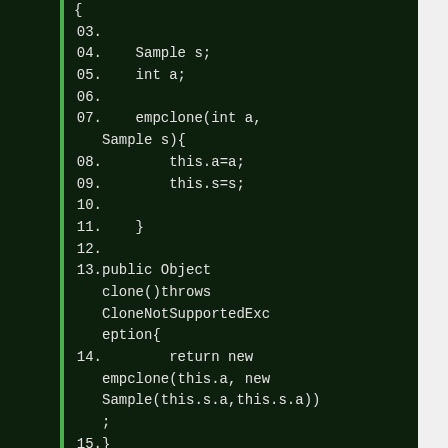[Figure (screenshot): Java source code editor screenshot on dark green background showing lines 03-24 of a Java class with empclone and main method implementation including clone() override and try block.]